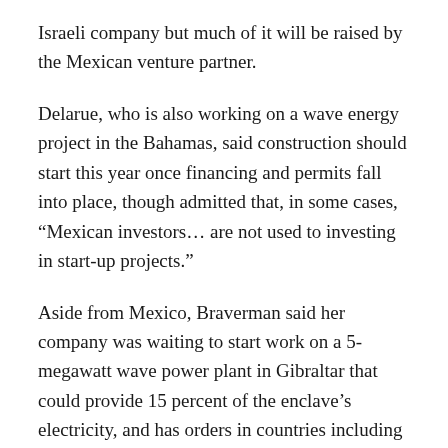Israeli company but much of it will be raised by the Mexican venture partner.
Delarue, who is also working on a wave energy project in the Bahamas, said construction should start this year once financing and permits fall into place, though admitted that, in some cases, “Mexican investors… are not used to investing in start-up projects.”
Aside from Mexico, Braverman said her company was waiting to start work on a 5-megawatt wave power plant in Gibraltar that could provide 15 percent of the enclave’s electricity, and has orders in countries including China and Britain.
Some 300 miles from Gibraltar, int…